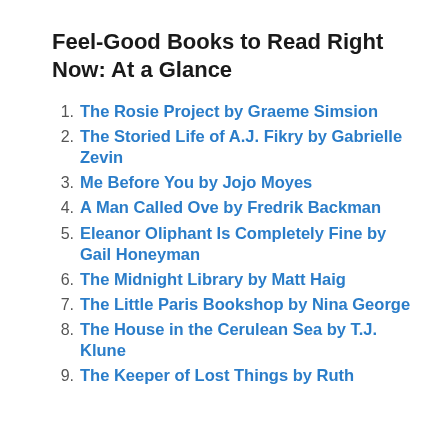Feel-Good Books to Read Right Now: At a Glance
The Rosie Project by Graeme Simsion
The Storied Life of A.J. Fikry by Gabrielle Zevin
Me Before You by Jojo Moyes
A Man Called Ove by Fredrik Backman
Eleanor Oliphant Is Completely Fine by Gail Honeyman
The Midnight Library by Matt Haig
The Little Paris Bookshop by Nina George
The House in the Cerulean Sea by T.J. Klune
The Keeper of Lost Things by Ruth Hogan